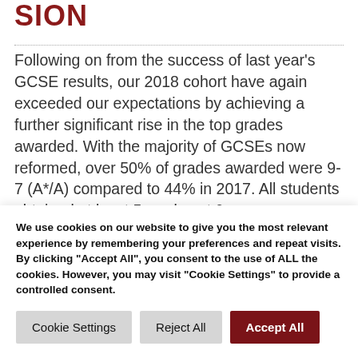SION
Following on from the success of last year's GCSE results, our 2018 cohort have again exceeded our expectations by achieving a further significant rise in the top grades awarded. With the majority of GCSEs now reformed, over 50% of grades awarded were 9-7 (A*/A) compared to 44% in 2017. All students obtained at least 5 grades at 9-5 with...
We use cookies on our website to give you the most relevant experience by remembering your preferences and repeat visits. By clicking "Accept All", you consent to the use of ALL the cookies. However, you may visit "Cookie Settings" to provide a controlled consent.